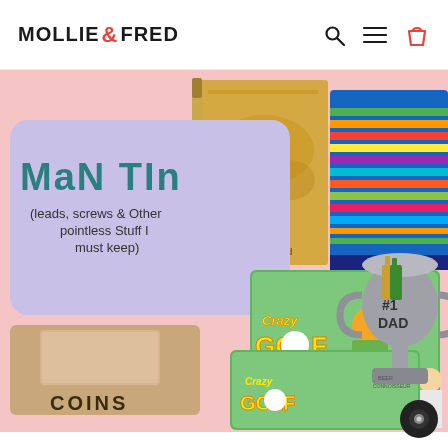MOLLIE & FRED
[Figure (photo): Retail website screenshot showing a 'For Him' gift collection on a pink background, featuring products: a lavender Man Tin box with text 'MaN TIn (leads, screws & Other pointless Stuff I must keep)', a wooden coins box, Crazy Golf game boxes, a #1 Dad trophy beer connoisseur cup, colorful striped socks, a scratch-the-world map poster, and a gold pen.]